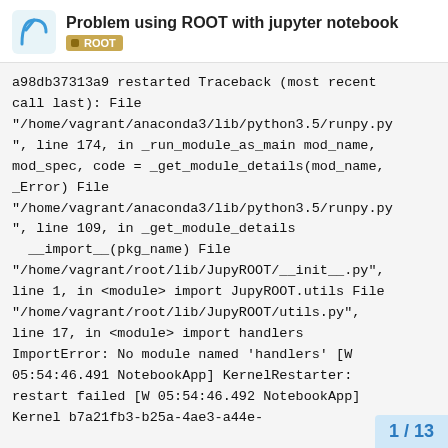Problem using ROOT with jupyter notebook | ROOT
a98db37313a9 restarted Traceback (most recent call last): File "/home/vagrant/anaconda3/lib/python3.5/runpy.py", line 174, in _run_module_as_main mod_name, mod_spec, code = _get_module_details(mod_name, _Error) File "/home/vagrant/anaconda3/lib/python3.5/runpy.py", line 109, in _get_module_details __import__(pkg_name) File "/home/vagrant/root/lib/JupyROOT/__init__.py", line 1, in <module> import JupyROOT.utils File "/home/vagrant/root/lib/JupyROOT/utils.py", line 17, in <module> import handlers ImportError: No module named 'handlers' [W 05:54:46.491 NotebookApp] KernelRestarter: restart failed [W 05:54:46.492 NotebookApp] Kernel b7a21fb3-b25a-4ae3-a44e-
1 / 13